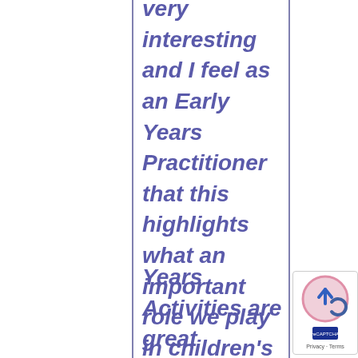very interesting and I feel as an Early Years Practitioner that this highlights what an important role we play in children's lives. We can
[Figure (screenshot): Cookie consent overlay panel with light green background. Contains title 'Cookies' in white bold text, message 'This site uses cookies: Find out more.' with 'Find out more.' in pink/salmon color, and a pink 'Okay, thanks' button.]
Years Activities are great
[Figure (logo): Google reCAPTCHA badge in bottom right corner showing a circular logo with pink border and arrow icon, with Privacy and Terms links below.]